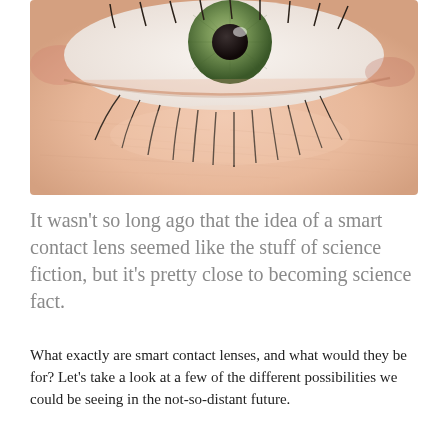[Figure (photo): Close-up macro photograph of a human eye showing a green/hazel iris, lower eyelid, lower eyelashes, and skin texture of the cheek area beneath the eye.]
It wasn't so long ago that the idea of a smart contact lens seemed like the stuff of science fiction, but it's pretty close to becoming science fact.
What exactly are smart contact lenses, and what would they be for? Let's take a look at a few of the different possibilities we could be seeing in the not-so-distant future.